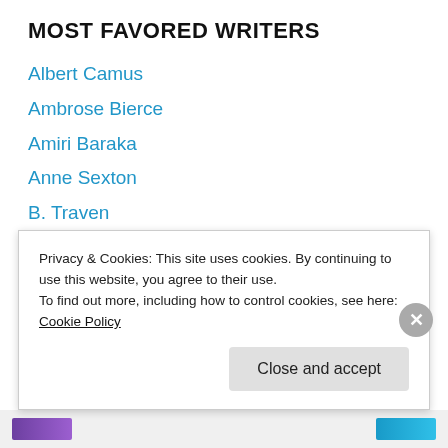MOST FAVORED WRITERS
Albert Camus
Ambrose Bierce
Amiri Baraka
Anne Sexton
B. Traven
Carl Hiaasen
Charles Dickens
Charles Portis
Chester Himes
Clark Ashton Smith
Dennis Potter
Privacy & Cookies: This site uses cookies. By continuing to use this website, you agree to their use.
To find out more, including how to control cookies, see here: Cookie Policy